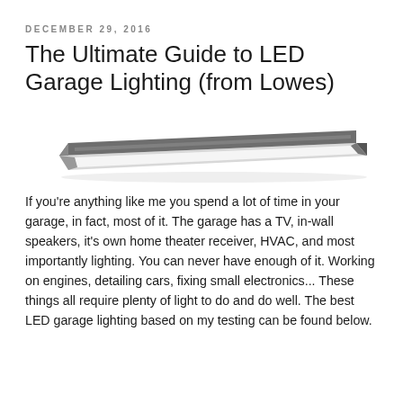DECEMBER 29, 2016
The Ultimate Guide to LED Garage Lighting (from Lowes)
[Figure (photo): A long rectangular LED garage light fixture with a gray/silver metal housing and a white diffuser panel, shown in perspective view against a white background.]
If you're anything like me you spend a lot of time in your garage, in fact, most of it. The garage has a TV, in-wall speakers, it's own home theater receiver, HVAC, and most importantly lighting. You can never have enough of it. Working on engines, detailing cars, fixing small electronics... These things all require plenty of light to do and do well. The best LED garage lighting based on my testing can be found below.